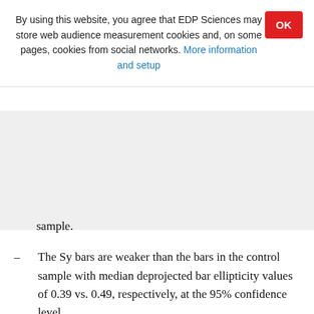By using this website, you agree that EDP Sciences may store web audience measurement cookies and, on some pages, cookies from social networks. More information and setup
sample.
The Sy bars are weaker than the bars in the control sample with median deprojected bar ellipticity values of 0.39 vs. 0.49, respectively, at the 95% confidence level.
The incidence of rings in the Sy and control